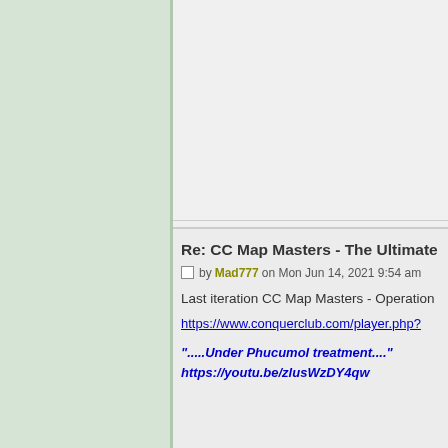Re: CC Map Masters - The Ultimate
by Mad777 on Mon Jun 14, 2021 9:54 am
Last iteration CC Map Masters - Operation
https://www.conquerclub.com/player.php?
".....Under Phucumol treatment...." https://youtu.be/zlusWzDY4qw